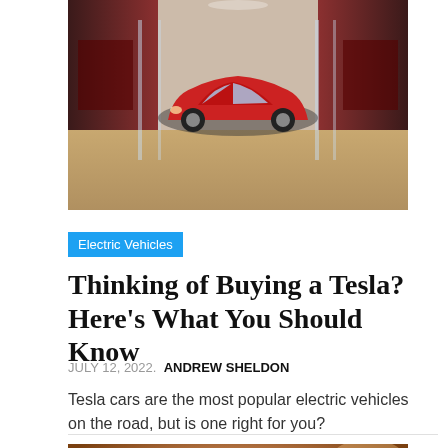[Figure (photo): Tesla showroom interior with a red Tesla car on display, with glass walls and red illuminated panels in background]
Electric Vehicles
Thinking of Buying a Tesla? Here’s What You Should Know
JULY 12, 2022. ANDREW SHELDON
Tesla cars are the most popular electric vehicles on the road, but is one right for you?
[Figure (photo): Interior of a car showing the steering wheel and dashboard, with a warm brown tone]